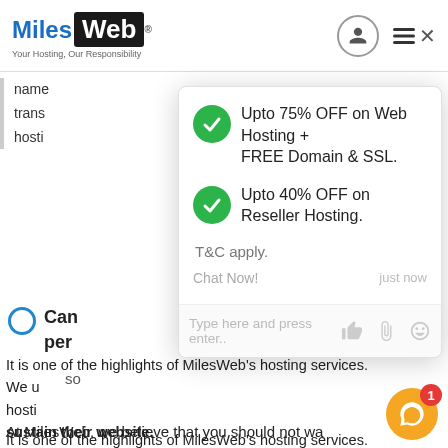MilesWeb — Your Hosting, Our Responsibility
name trans hosti
Can per
[Figure (screenshot): Popup/tooltip overlay from MilesWeb website showing: Upto 75% OFF on Web Hosting + FREE Domain & SSL. / Upto 40% OFF on Reseller Hosting. / T&C apply. / Chat Now! (just now) / Type here and press enter.. with like, paperclip, emoji icons]
It is one of the highlights of MileWeb's hosting services. We u hosti sustain their website.
At MilesWeb, we believe that you should not wa money by buying a hosting plan that is unnece extravagant for your website. You can start hosting with